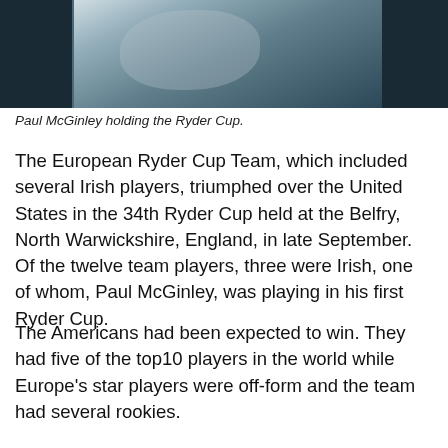[Figure (photo): Photo of Paul McGinley holding the Ryder Cup, cropped to show upper portion]
Paul McGinley holding the Ryder Cup.
The European Ryder Cup Team, which included several Irish players, triumphed over the United States in the 34th Ryder Cup held at the Belfry, North Warwickshire, England, in late September. Of the twelve team players, three were Irish, one of whom, Paul McGinley, was playing in his first Ryder Cup.
The Americans had been expected to win. They had five of the top10 players in the world while Europe’s star players were off-form and the team had several rookies.